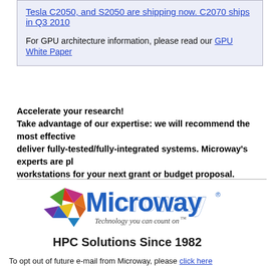Tesla C2050, and S2050 are shipping now. C2070 ships in Q3 2010
For GPU architecture information, please read our GPU White Paper
Accelerate your research! Take advantage of our expertise: we will recommend the most effective deliver fully-tested/fully-integrated systems. Microway's experts are pleased to configure workstations for your next grant or budget proposal.
[Figure (logo): Microway logo with colorful star graphic and text 'Technology you can count on' and 'HPC Solutions Since 1982']
To opt out of future e-mail from Microway, please click here